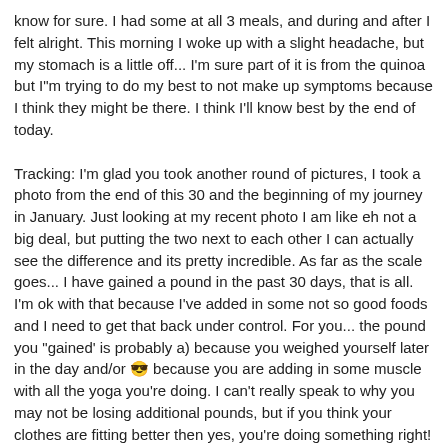know for sure. I had some at all 3 meals, and during and after I felt alright. This morning I woke up with a slight headache, but my stomach is a little off... I'm sure part of it is from the quinoa but I"m trying to do my best to not make up symptoms because I think they might be there. I think I'll know best by the end of today.
Tracking: I'm glad you took another round of pictures, I took a photo from the end of this 30 and the beginning of my journey in January. Just looking at my recent photo I am like eh not a big deal, but putting the two next to each other I can actually see the difference and its pretty incredible. As far as the scale goes... I have gained a pound in the past 30 days, that is all. I'm ok with that because I've added in some not so good foods and I need to get that back under control. For you... the pound you "gained' is probably a) because you weighed yourself later in the day and/or 😎 because you are adding in some muscle with all the yoga you're doing. I can't really speak to why you may not be losing additional pounds, but if you think your clothes are fitting better then yes, you're doing something right!